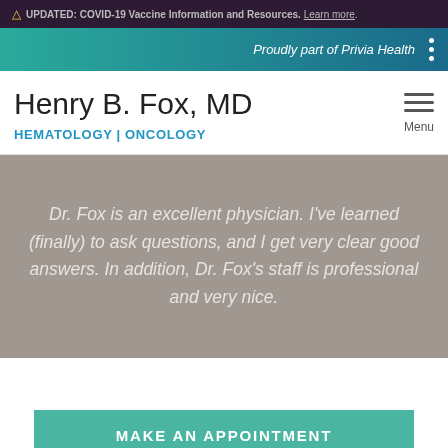UPDATED: COVID-19 Vaccine Information and Resources. Learn more.
Proudly part of Privia Health
Henry B. Fox, MD
HEMATOLOGY | ONCOLOGY
Dr. Fox is an excellent physician. I've learned (finally) to ask questions, and I get very clear good answers. In addition, Dr. Fox's staff is professional and very nice.
MAKE AN APPOINTMENT